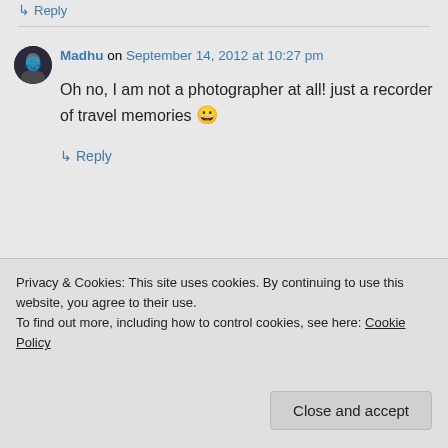↳ Reply
Madhu on September 14, 2012 at 10:27 pm
Oh no, I am not a photographer at all! just a recorder of travel memories 😀
↳ Reply
Privacy & Cookies: This site uses cookies. By continuing to use this website, you agree to their use.
To find out more, including how to control cookies, see here: Cookie Policy
Close and accept